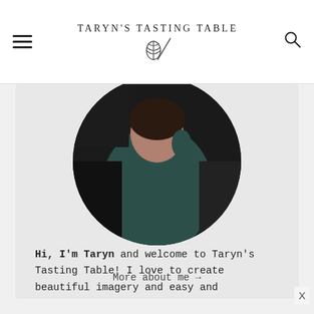TARYN'S TASTING TABLE
[Figure (photo): Circular cropped photo of Taryn in a dark teal/green outfit, standing in a kitchen near an oven, shot from above angle]
Hi, I'm Taryn and welcome to Taryn's Tasting Table! I love to create beautiful imagery and easy and approachable recipes that anyone can do. Let's get baking!
More about me →